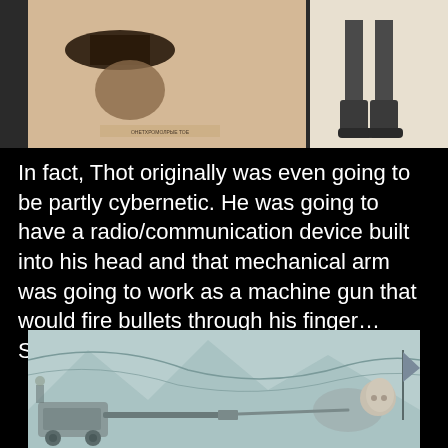[Figure (illustration): Two vintage illustrations side by side: left shows a figure with hat and dramatic scene, right shows lower legs in boots standing.]
In fact, Thot originally was even going to be partly cybernetic. He was going to have a radio/communication device built into his head and that mechanical arm was going to work as a machine gun that would fire bullets through his finger… Seriously…
[Figure (illustration): A pencil sketch showing a reclining figure with mechanical or fantastical elements, mountains in background, and a flag.]